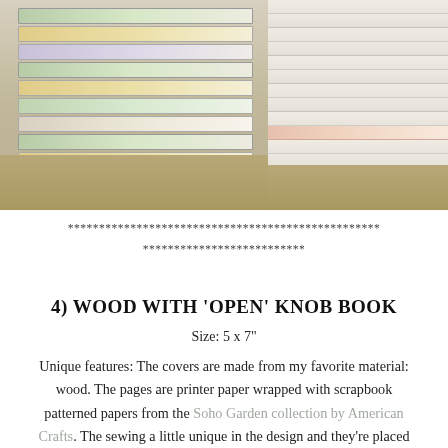[Figure (photo): Two stacks of handmade notebooks with floral patterned covers side by side, showing spines of pages]
************************************************** **************************
4) WOOD WITH 'OPEN' KNOB BOOK
Size: 5 x 7"
Unique features: The covers are made from my favorite material: wood. The pages are printer paper wrapped with scrapbook patterned papers from the Soho Garden collection by American Crafts. The sewing a little unique in the design and they're placed closer together than 'usual' for my